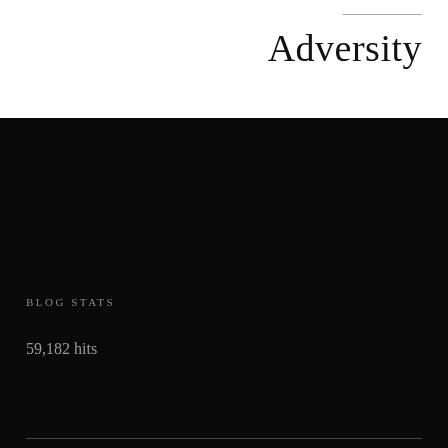Adversity
BLOG STATS
59,182 hits
MODELING
[Figure (photo): Two photographs side by side: left shows a woman in white clothing seated indoors, right shows a person dressed in black with a dramatic pose against a light background.]